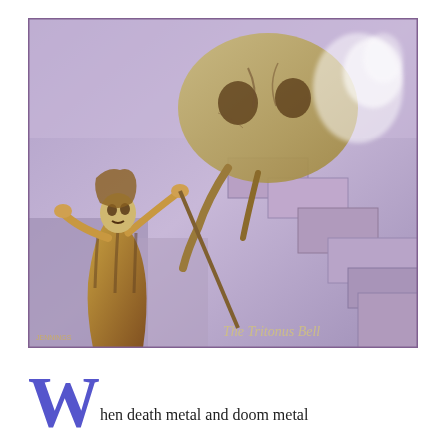[Figure (illustration): Album cover artwork for 'The Tritonus Bell' showing a robed skeleton figure holding a staff on the left, and a large decayed skull/creature looming above on the right, set against purple/lavender stone staircase background. Gothic text in lower right reads 'The Tritonus Bell'. Artist signature bottom left.]
W hen death metal and doom metal